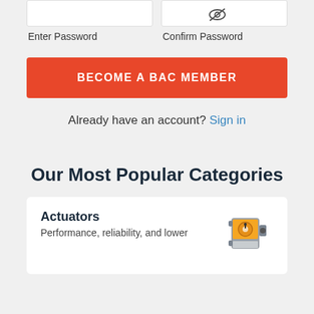[Figure (screenshot): Two password input fields side by side with an eye icon toggle, labeled 'Enter Password' and 'Confirm Password']
Enter Password   Confirm Password
BECOME A BAC MEMBER
Already have an account? Sign in
Our Most Popular Categories
Actuators
Performance, reliability, and lower